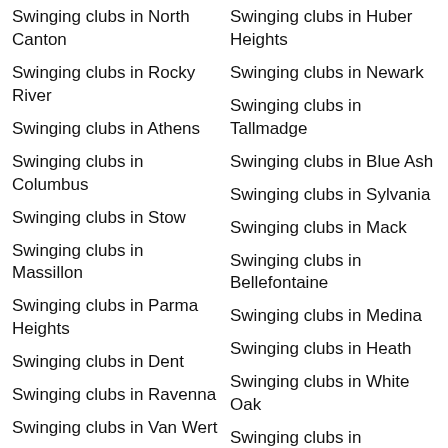Swinging clubs in North Canton
Swinging clubs in Rocky River
Swinging clubs in Athens
Swinging clubs in Columbus
Swinging clubs in Stow
Swinging clubs in Massillon
Swinging clubs in Parma Heights
Swinging clubs in Dent
Swinging clubs in Ravenna
Swinging clubs in Van Wert
Swinging clubs in Vermilion
Swinging clubs in Marion
Swinging clubs in Barberton
Swinging clubs in Huber Heights
Swinging clubs in Newark
Swinging clubs in Tallmadge
Swinging clubs in Blue Ash
Swinging clubs in Sylvania
Swinging clubs in Mack
Swinging clubs in Bellefontaine
Swinging clubs in Medina
Swinging clubs in Heath
Swinging clubs in White Oak
Swinging clubs in Reynoldsburg
Swinging clubs in Ironton